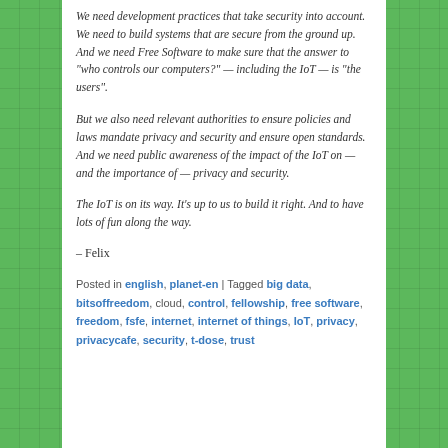We need development practices that take security into account. We need to build systems that are secure from the ground up. And we need Free Software to make sure that the answer to "who controls our computers?" — including the IoT — is "the users".
But we also need relevant authorities to ensure policies and laws mandate privacy and security and ensure open standards. And we need public awareness of the impact of the IoT on — and the importance of — privacy and security.
The IoT is on its way. It's up to us to build it right. And to have lots of fun along the way.
– Felix
Posted in english, planet-en | Tagged big data, bitsoffreedom, cloud, control, fellowship, free software, freedom, fsfe, internet, internet of things, IoT, privacy, privacycafe, security, t-dose, trust